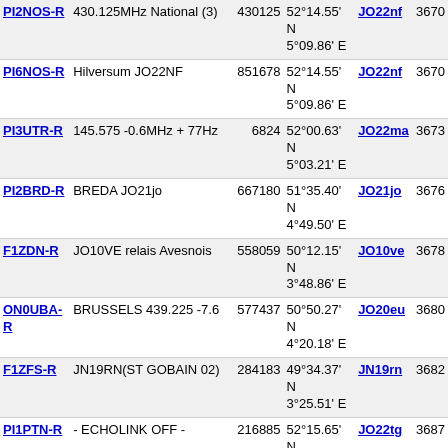| Callsign | Description | Node | Coordinates | Grid | Num |
| --- | --- | --- | --- | --- | --- |
| PI2NOS-R | 430.125MHz National (3) | 430125 | 52°14.55' N 5°09.86' E | JO22nf | 3670 |
| PI6NOS-R | Hilversum JO22NF | 851678 | 52°14.55' N 5°09.86' E | JO22nf | 3670 |
| PI3UTR-R | 145.575 -0.6MHz + 77Hz | 6824 | 52°00.63' N 5°03.21' E | JO22ma | 3673 |
| PI2BRD-R | BREDA JO21jo | 667180 | 51°35.40' N 4°49.50' E | JO21jo | 3676 |
| F1ZDN-R | JO10VE relais Avesnois | 558059 | 50°12.15' N 3°48.86' E | JO10ve | 3678 |
| ON0UBA-R | BRUSSELS 439.225 -7.6 | 577437 | 50°50.27' N 4°20.18' E | JO20eu | 3680 |
| F1ZFS-R | JN19RN(ST GOBAIN 02) | 284183 | 49°34.37' N 3°25.51' E | JN19rn | 3682 |
| PI1PTN-R | - ECHOLINK OFF - | 216885 | 52°15.65' N 5°36.61' E | JO22tg | 3687 |
| ON0VOS-L | Vosselaar 145.337.5 | 356825 | 51°18.00' N 4°53.00' E | JO21kh | 3687 |
| PI2KMP-R | Kampen 430.175 77 Hz (1) | 30175 | 52°33.29' N 5°55.18' E | JO22xn | 3690 |
| PD2RLD-L | Tiel (1) | 336921 | 51°53.91' N 5°25.45' E | JO21rv | 3690 |
| ON0BA-R | [Svx]439.175,Hoegaarden (1) | 429437 | 50°47.16' N 4°52.15' E | JO20ks | 3702 |
| DB0ET-R | [Svx] Emden LH JO33MJ RU714 | 663288 | 53°24.35' N 7°00.93' E | JO33mj | 3706 |
| DB0OX-R | [Svx] Norden 438.700 | 764497 | 53°35.43' N | JO33oo | 3707 |